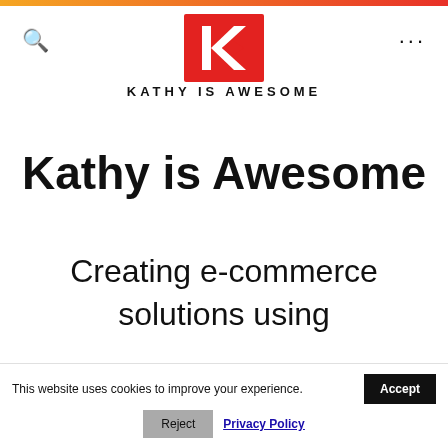[Figure (logo): Kathy is Awesome logo: red square with white 'k>' symbol]
KATHY IS AWESOME
Kathy is Awesome
Creating e-commerce solutions using
This website uses cookies to improve your experience.  Accept  Reject  Privacy Policy